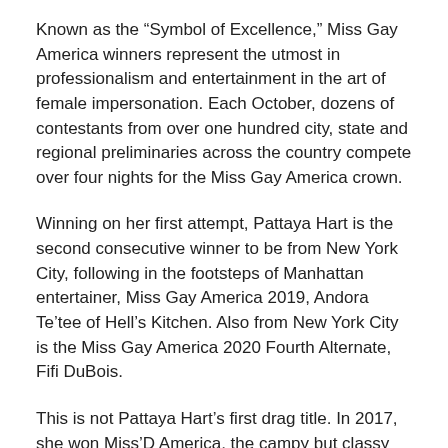Known as the “Symbol of Excellence,” Miss Gay America winners represent the utmost in professionalism and entertainment in the art of female impersonation. Each October, dozens of contestants from over one hundred city, state and regional preliminaries across the country compete over four nights for the Miss Gay America crown.
Winning on her first attempt, Pattaya Hart is the second consecutive winner to be from New York City, following in the footsteps of Manhattan entertainer, Miss Gay America 2019, Andora Te’tee of Hell’s Kitchen. Also from New York City is the Miss Gay America 2020 Fourth Alternate, Fifi DuBois.
This is not Pattaya Hart’s first drag title. In 2017, she won Miss’D America, the campy but classy fundraising drag show that has raised hundreds of thousands of dollars for LGBTQ causes. Fifi DuBois was Miss’D America 2015.